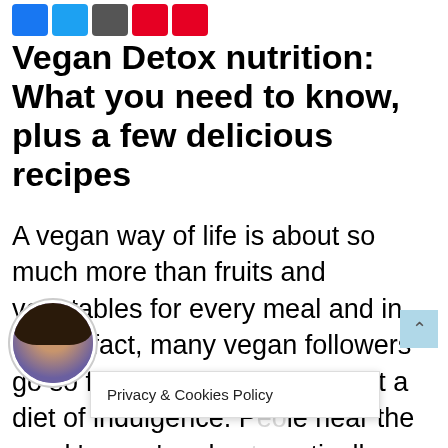[Figure (other): Social media share icons: Facebook (blue), Twitter (blue), Email (gray), Pinterest (red), YouTube (red)]
Vegan Detox nutrition: What you need to know, plus a few delicious recipes
A vegan way of life is about so much more than fruits and vegetables for every meal and in actual fact, many vegan followers go so far as to call a vegan diet a diet of indulgence. People hear the word 'vegan' and automatically p...oned, st...
[Figure (photo): Circular avatar photo of a woman with dark hair]
Privacy & Cookies Policy